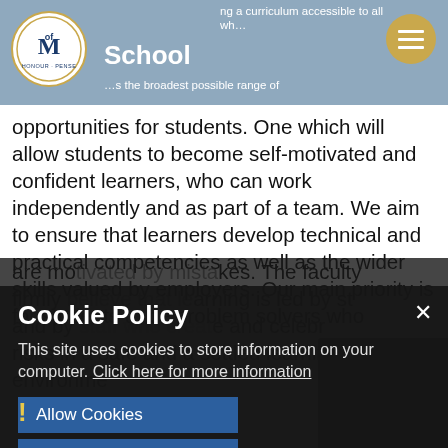The Mountbatten School
opportunities for students. One which will allow students to become self-motivated and confident learners, who can work independently and as part of a team. We aim to ensure that learners develop technical and practical competencies as well as the wider skills valued by employers. Our main priority is for students to be problem solvers who are mo...
Cookie Policy
This site uses cookies to store information on your computer. Click here for more information
Allow Cookies
Deny Cookies